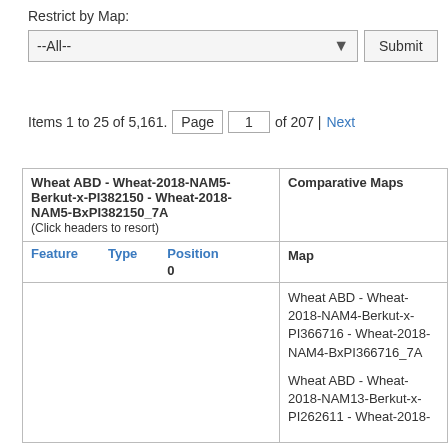Restrict by Map:
--All--
Items 1 to 25 of 5,161.   Page  1  of 207 | Next
| Wheat ABD - Wheat-2018-NAM5-Berkut-x-PI382150 - Wheat-2018-NAM5-BxPI382150_7A (Click headers to resort) | Comparative Maps |
| --- | --- |
| Feature  Type  Position 0  Map |  |
|  | Wheat ABD - Wheat-2018-NAM4-Berkut-x-PI366716 - Wheat-2018-NAM4-BxPI366716_7A |
|  | Wheat ABD - Wheat-2018-NAM13-Berkut-x-PI262611 - Wheat-2018- |